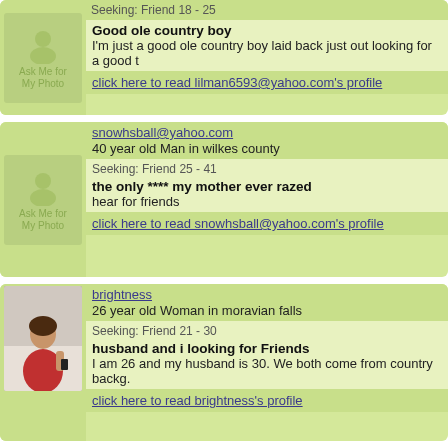[Figure (other): Ask Me for My Photo placeholder image]
Good ole country boy
I'm just a good ole country boy laid back just out looking for a good t
click here to read lilman6593@yahoo.com's profile
snowhsball@yahoo.com
40 year old Man in wilkes county
Seeking: Friend 25 - 41
the only **** my mother ever razed
hear for friends
click here to read snowhsball@yahoo.com's profile
[Figure (photo): Photo of a woman in red top taking a mirror selfie]
brightness
26 year old Woman in moravian falls
Seeking: Friend 21 - 30
husband and i looking for Friends
I am 26 and my husband is 30. We both come from country backg.
click here to read brightness's profile